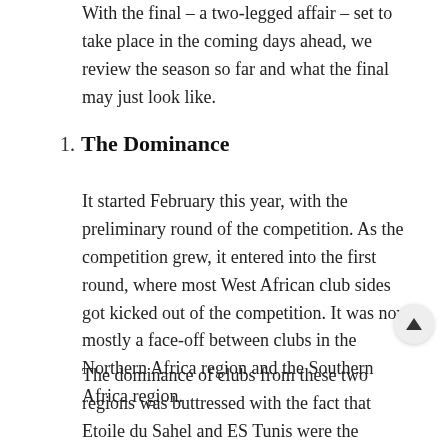With the final – a two-legged affair – set to take place in the coming days ahead, we review the season so far and what the final may just look like.
1. The Dominance
It started February this year, with the preliminary round of the competition. As the competition grew, it entered into the first round, where most West African club sides got kicked out of the competition. It was now mostly a face-off between clubs in the Northern Africa region and the Southern Africa region.
The dominance of clubs from these two regions was buttressed with the fact that Etoile du Sahel and ES Tunis were the only clubs that failed to lose any game in the group stages of the competition. Mamelodi Sundowns lost only once – the same number of times Al Ahly lost.